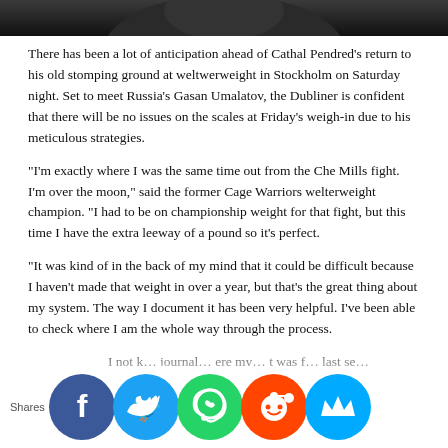[Figure (photo): Dark cropped photo strip at top of page, showing a person in low light]
There has been a lot of anticipation ahead of Cathal Pendred's return to his old stomping ground at weltwerweight in Stockholm on Saturday night. Set to meet Russia's Gasan Umalatov, the Dubliner is confident that there will be no issues on the scales at Friday's weigh-in due to his meticulous strategies.
“I’m exactly where I was the same time out from the Che Mills fight. I’m over the moon,” said the former Cage Warriors welterweight champion. “I had to be on championship weight for that fight, but this time I have the extra leeway of a pound so it’s perfect.
“It was kind of in the back of my mind that it could be difficult because I haven't made that weight in over a year, but that's the great thing about my system. The way I document it has been very helpful. I’ve been able to check where I am the whole way through the process.
I not k… journal… ere my… t was f… last se… ht figh… n I wo… ivacy a… es Po… if I wa…
[Figure (infographic): Social share bar with Facebook, Twitter, WhatsApp, Reddit, and Mix/Mix icons. Shares label on left.]